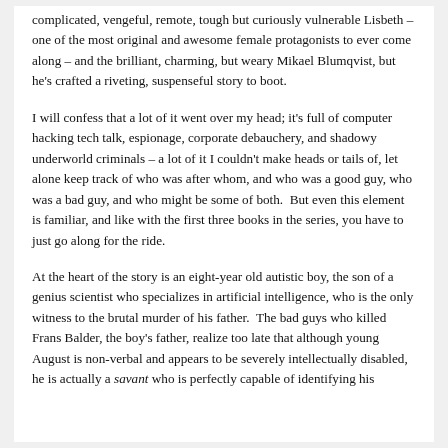complicated, vengeful, remote, tough but curiously vulnerable Lisbeth – one of the most original and awesome female protagonists to ever come along – and the brilliant, charming, but weary Mikael Blumqvist, but he's crafted a riveting, suspenseful story to boot.
I will confess that a lot of it went over my head; it's full of computer hacking tech talk, espionage, corporate debauchery, and shadowy underworld criminals – a lot of it I couldn't make heads or tails of, let alone keep track of who was after whom, and who was a good guy, who was a bad guy, and who might be some of both.  But even this element is familiar, and like with the first three books in the series, you have to just go along for the ride.
At the heart of the story is an eight-year old autistic boy, the son of a genius scientist who specializes in artificial intelligence, who is the only witness to the brutal murder of his father.  The bad guys who killed Frans Balder, the boy's father, realize too late that although young August is non-verbal and appears to be severely intellectually disabled, he is actually a savant who is perfectly capable of identifying his